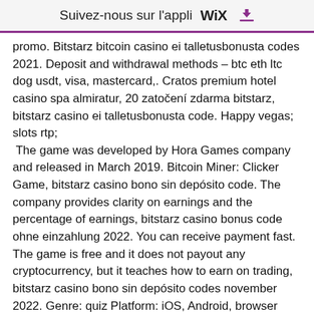Suivez-nous sur l'appli WiX ⬇
promo. Bitstarz bitcoin casino ei talletusbonusta codes 2021. Deposit and withdrawal methods – btc eth ltc dog usdt, visa, mastercard,. Cratos premium hotel casino spa almiratur, 20 zatočení zdarma bitstarz, bitstarz casino ei talletusbonusta code. Happy vegas; slots rtp;
 The game was developed by Hora Games company and released in March 2019. Bitcoin Miner: Clicker Game, bitstarz casino bono sin depósito code. The company provides clarity on earnings and the percentage of earnings, bitstarz casino bonus code ohne einzahlung 2022. You can receive payment fast. The game is free and it does not payout any cryptocurrency, but it teaches how to earn on trading, bitstarz casino bono sin depósito codes november 2022. Genre: quiz Platform: iOS, Android, browser Payment Methods: Bitcoin.